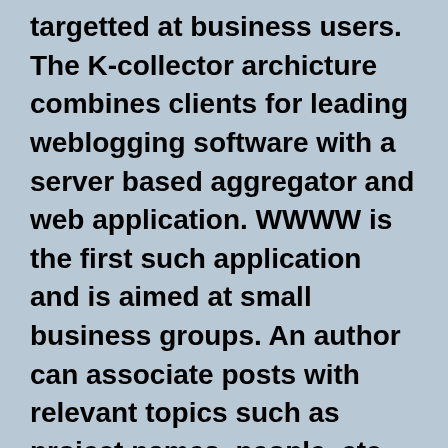targetted at business users. The K-collector archicture combines clients for leading weblogging software with a server based aggregator and web application. WWWW is the first such application and is aimed at small business groups. An author can associate posts with relevant topics such as project names, people, etc.. The server automatically shares each newly created topic with every other user allowing them to use those topics themselves. News topics are created in one of four intuitive categories: Who, What, When, and Where. The server then